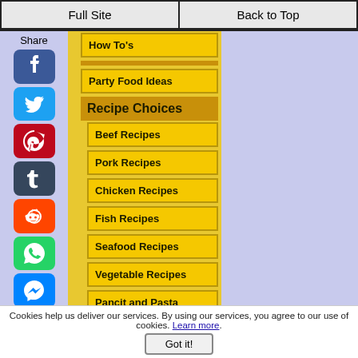Full Site | Back to Top
Share
How To's
Party Food Ideas
Recipe Choices
Beef Recipes
Pork Recipes
Chicken Recipes
Fish Recipes
Seafood Recipes
Vegetable Recipes
Pancit and Pasta
Lumpia Recipes
Sawsawan, Atbp
Cookies help us deliver our services. By using our services, you agree to our use of cookies. Learn more. Got it!